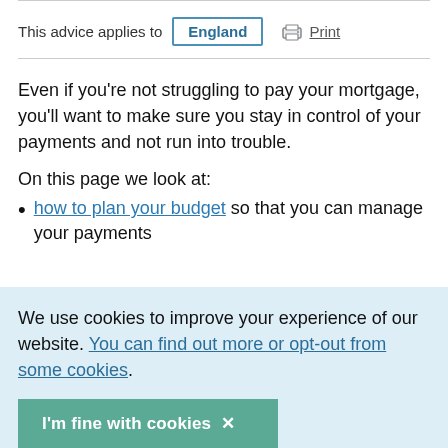This advice applies to England
Even if you're not struggling to pay your mortgage, you'll want to make sure you stay in control of your payments and not run into trouble.
On this page we look at:
how to plan your budget so that you can manage your payments
We use cookies to improve your experience of our website. You can find out more or opt-out from some cookies.
I'm fine with cookies ×